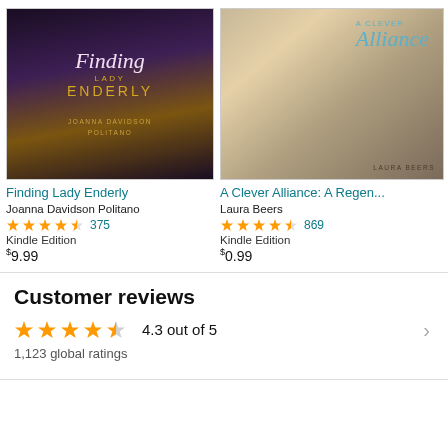[Figure (illustration): Book cover for 'Finding Lady Enderly' by Joanna Davidson Politano — dark purple/brown tones with gold text and a woman in period dress]
Finding Lady Enderly
Joanna Davidson Politano
[Figure (other): 4.5-star rating with 375 reviews]
Kindle Edition
$9.99
[Figure (illustration): Book cover for 'A Clever Alliance: A Regen...' by Laura Beers — woman in Regency dress with teal script text]
A Clever Alliance: A Regen...
Laura Beers
[Figure (other): 4.5-star rating with 869 reviews]
Kindle Edition
$0.99
Customer reviews
[Figure (other): 4.5-star rating display — 4.3 out of 5]
4.3 out of 5
1,123 global ratings